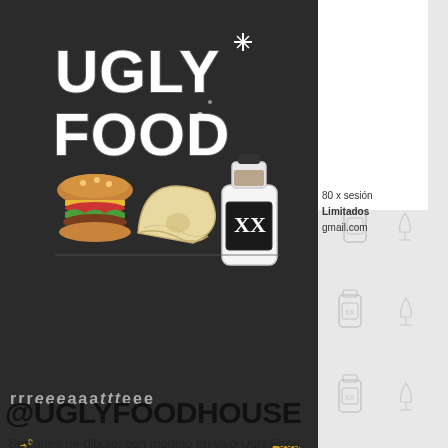[Figure (logo): Ugly Food House logo: stylized cartoon text 'UGLY FOOD' in chunky white letters with sparkle, accompanied by cartoon burger, empanada, and bottle with XX label, on dark background]
$80 x sesión
Limitados
gmail.com
[Figure (infographic): Repeated decorative icons of liquor bottles and wine glasses on light gray background sidebar]
@UGLYFOODHOUSE
Sesiones de dibujo: con modelo en vivo Ugly Food House Miércoles 7 de Febrero 2018 19:00 - 21:00 HRS $80 pesos por sesión